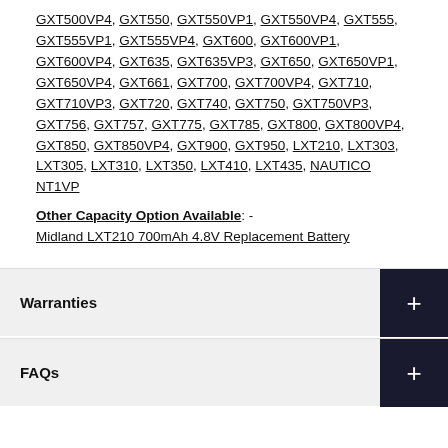GXT500VP4, GXT550, GXT550VP1, GXT550VP4, GXT555, GXT555VP1, GXT555VP4, GXT600, GXT600VP1, GXT600VP4, GXT635, GXT635VP3, GXT650, GXT650VP1, GXT650VP4, GXT661, GXT700, GXT700VP4, GXT710, GXT710VP3, GXT720, GXT740, GXT750, GXT750VP3, GXT756, GXT757, GXT775, GXT785, GXT800, GXT800VP4, GXT850, GXT850VP4, GXT900, GXT950, LXT210, LXT303, LXT305, LXT310, LXT350, LXT410, LXT435, NAUTICO NT1VP
Other Capacity Option Available: -
Midland LXT210 700mAh 4.8V Replacement Battery
Warranties
FAQs